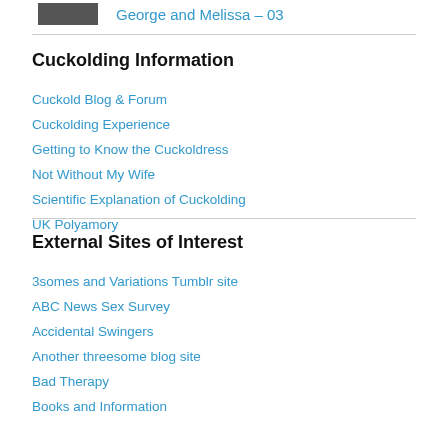George and Melissa – 03
Cuckolding Information
Cuckold Blog & Forum
Cuckolding Experience
Getting to Know the Cuckoldress
Not Without My Wife
Scientific Explanation of Cuckolding
UK Polyamory
External Sites of Interest
3somes and Variations Tumblr site
ABC News Sex Survey
Accidental Swingers
Another threesome blog site
Bad Therapy
Books and Information